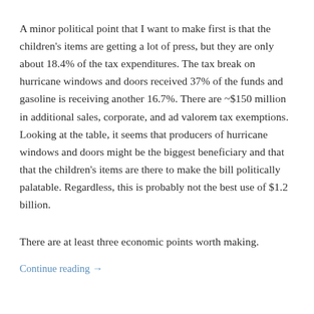A minor political point that I want to make first is that the children's items are getting a lot of press, but they are only about 18.4% of the tax expenditures. The tax break on hurricane windows and doors received 37% of the funds and gasoline is receiving another 16.7%. There are ~$150 million in additional sales, corporate, and ad valorem tax exemptions. Looking at the table, it seems that producers of hurricane windows and doors might be the biggest beneficiary and that that the children's items are there to make the bill politically palatable. Regardless, this is probably not the best use of $1.2 billion.
There are at least three economic points worth making.
Continue reading →